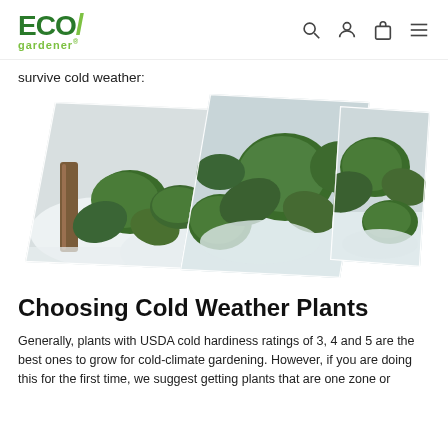ECO/ gardener
survive cold weather:
[Figure (photo): Three overlapping parallelogram-shaped photos of cabbage/brassica plants growing in a winter garden covered with frost protection fabric or snow, arranged in a collage style with white borders.]
Choosing Cold Weather Plants
Generally, plants with USDA cold hardiness ratings of 3, 4 and 5 are the best ones to grow for cold-climate gardening. However, if you are doing this for the first time, we suggest getting plants that are one zone or